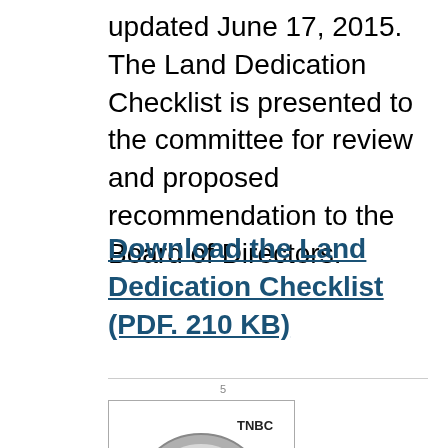updated June 17, 2015. The Land Dedication Checklist is presented to the committee for review and proposed recommendation to the Board of Directors.
Download the Land Dedication Checklist (PDF. 210 KB)
[Figure (logo): TNBC Action Item logo: a circular badge with the letter A and an arrow, labeled TNBC at the top, with ACTION ITEM caption below]
ACTION ITEM